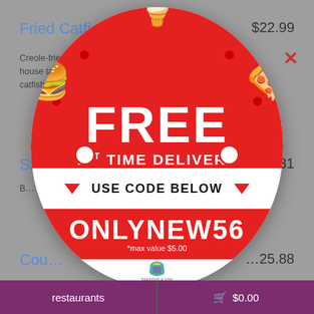Fried Catfish
$22.99
Creole-fried fresh... claw, house tarta... catfish fi...
Sh... .31
B...
[Figure (infographic): Round promotional popup badge with red and white sections. Top red section says FREE in large white bold text, below it 1ST TIME DELIVERY. White middle band says USE CODE BELOW with red triangles. Lower red section shows promo code ONLYNEW56 in white with *max value $5.00 below. Bottom white section shows Takeout & You logo.]
Cou... .25.88
Tenderized... white pepper...
restaurants
$0.00